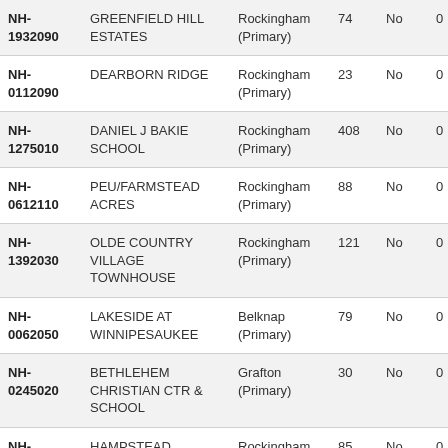| NH-1932090 | GREENFIELD HILL ESTATES | Rockingham (Primary) | 74 | No | 0 |
| NH-0112090 | DEARBORN RIDGE | Rockingham (Primary) | 23 | No | 0 |
| NH-1275010 | DANIEL J BAKIE SCHOOL | Rockingham (Primary) | 408 | No | 0 |
| NH-0612110 | PEU/FARMSTEAD ACRES | Rockingham (Primary) | 88 | No | 0 |
| NH-1392030 | OLDE COUNTRY VILLAGE TOWNHOUSE | Rockingham (Primary) | 121 | No | 0 |
| NH-0062050 | LAKESIDE AT WINNIPESAUKEE | Belknap (Primary) | 79 | No | 0 |
| NH-0245020 | BETHLEHEM CHRISTIAN CTR & SCHOOL | Grafton (Primary) | 30 | No | 0 |
| NH-1035050 | HAMPSTEAD ACADEMY | Rockingham (Primary) | 85 | No | 0 |